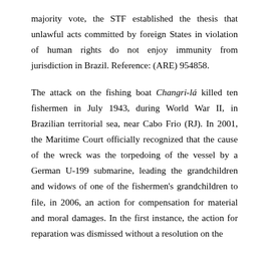majority vote, the STF established the thesis that unlawful acts committed by foreign States in violation of human rights do not enjoy immunity from jurisdiction in Brazil. Reference: (ARE) 954858.
The attack on the fishing boat Changri-lá killed ten fishermen in July 1943, during World War II, in Brazilian territorial sea, near Cabo Frio (RJ). In 2001, the Maritime Court officially recognized that the cause of the wreck was the torpedoing of the vessel by a German U-199 submarine, leading the grandchildren and widows of one of the fishermen's grandchildren to file, in 2006, an action for compensation for material and moral damages. In the first instance, the action for reparation was dismissed without a resolution on the